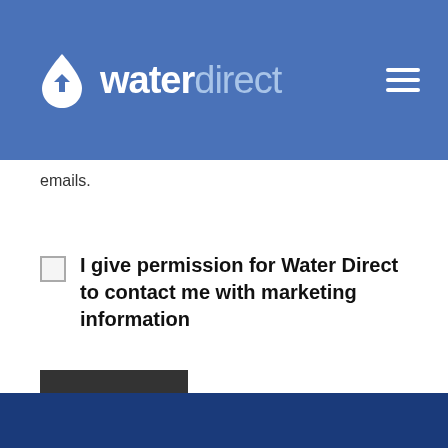waterdirect
emails.
I give permission for Water Direct to contact me with marketing information
Submit